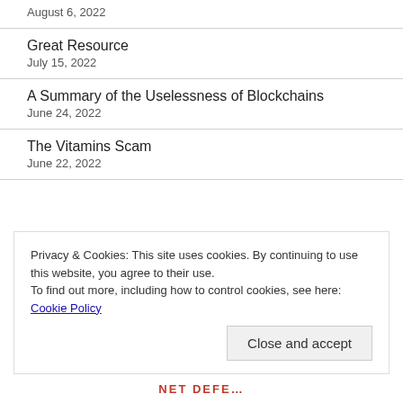August 6, 2022
Great Resource
July 15, 2022
A Summary of the Uselessness of Blockchains
June 24, 2022
The Vitamins Scam
June 22, 2022
Privacy & Cookies: This site uses cookies. By continuing to use this website, you agree to their use.
To find out more, including how to control cookies, see here: Cookie Policy
Close and accept
NET DEFE...